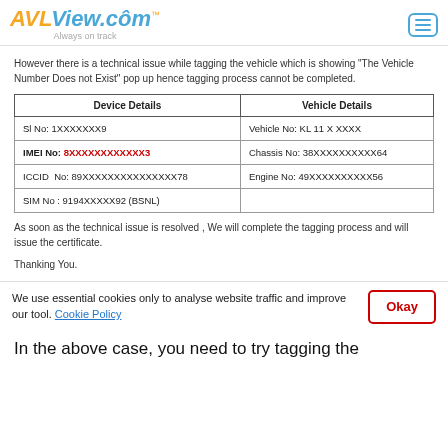AVLView.com Always on track
However there is a technical issue while tagging the vehicle which is showing "The Vehicle Number Does not Exist" pop up hence tagging process cannot be completed.
| Device Details | Vehicle Details |
| --- | --- |
| Sl No: 1XXXXXXX9 | Vehicle No: KL 11 X XXXX |
| IMEI No: 8XXXXXXXXXXXX3 | Chassis No: 38XXXXXXXXXX64 |
| ICCID  No: 89XXXXXXXXXXXXXXX78 | Engine No: 49XXXXXXXXXX56 |
| SIM No : 9194XXXXX92 (BSNL) |  |
As soon as the technical issue is resolved , We will complete the tagging process and will issue the certificate.
Thanking You.
We use essential cookies only to analyse website traffic and improve our tool. Cookie Policy
In the above case, you need to try tagging the